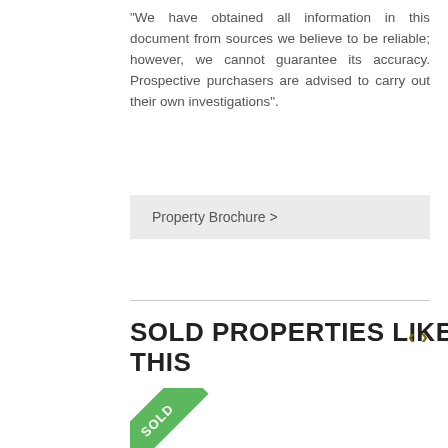"We have obtained all information in this document from sources we believe to be reliable; however, we cannot guarantee its accuracy. Prospective purchasers are advised to carry out their own investigations".
Property Brochure >
SOLD PROPERTIES LIKE THIS
[Figure (photo): Photo of a residential property exterior with sky, clouds, rooftops, trees, and a SOLD green ribbon banner in the top-left corner of the image.]